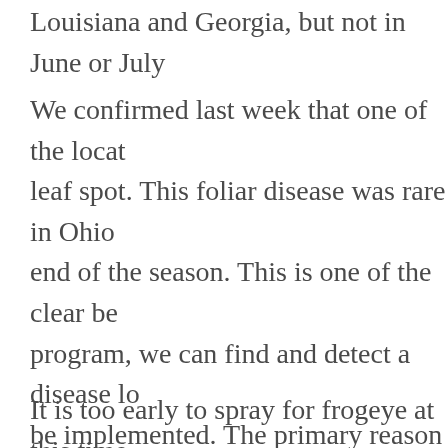Louisiana and Georgia, but not in June or July
We confirmed last week that one of the locations had frogeye leaf spot. This foliar disease was rare in Ohio until the end of the season. This is one of the clear benefits of the program, we can find and detect a disease long before it can be implemented. The primary reason why frogeye was so bad was due to extreme susceptibility to this pathogen in older cultivars. We scored the Performance trial last week and most entries had high levels of resistance. We don't expect frogeye this year, but it is good to monitor the situation.
It is too early to spray for frogeye at this time, but you should scout for it. We were able to document econo